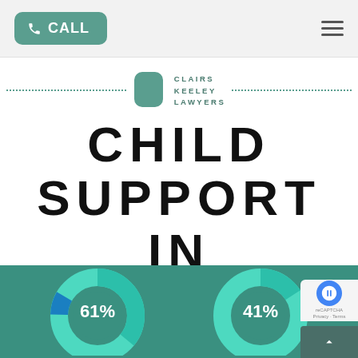CALL (navigation bar with hamburger menu)
[Figure (logo): Clairs Keeley Lawyers logo with teal rounded square icon and dotted lines on either side]
CHILD SUPPORT IN AUSTRALIA
[Figure (donut-chart): Donut charts showing 61% and 41%]